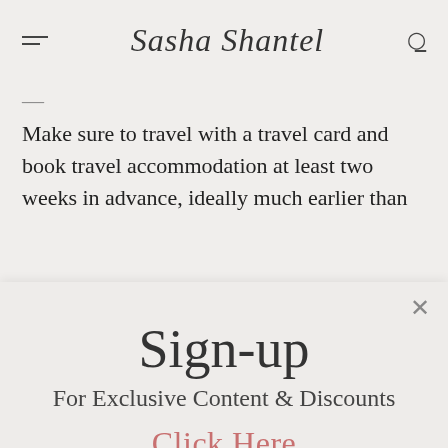Sasha Shontel
Make sure to travel with a travel card and book travel accommodation at least two weeks in advance, ideally much earlier than
Sign-up
For Exclusive Content & Discounts
Click Here
By subscribing to our newsletter you agree to our Terms and Conditions and Privacy Policy